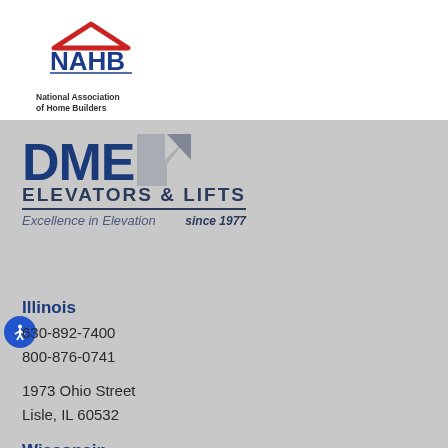[Figure (logo): NAHB National Association of Home Builders logo with blue and red house icon]
[Figure (logo): DME Elevators & Lifts logo with dark blue letters and gray arrow, tagline Excellence in Elevation since 1977]
Illinois
630-892-7400
800-876-0741
1973 Ohio Street
Lisle, IL 60532
Wisconsin
262-605-1300
800-321-4623
9675 S. 54th Street